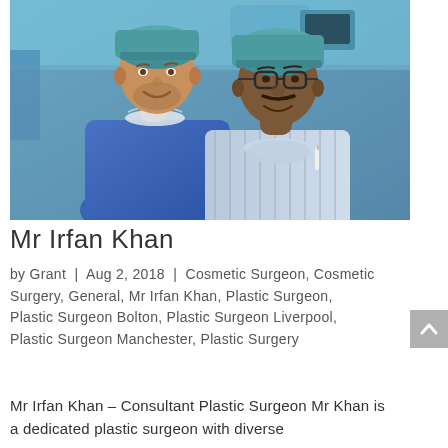[Figure (photo): Two surgeons in blue surgical gowns and teal surgical caps posing together indoors in what appears to be a hospital or operating theatre environment. The person on the left is taller, white, with a beard, wearing a blue surgical gown. The person on the right wears glasses, has a moustache, darker skin tone, and is wearing a striped shirt with a surgical mask pulled down around their neck.]
Mr Irfan Khan
by Grant | Aug 2, 2018 | Cosmetic Surgeon, Cosmetic Surgery, General, Mr Irfan Khan, Plastic Surgeon, Plastic Surgeon Bolton, Plastic Surgeon Liverpool, Plastic Surgeon Manchester, Plastic Surgery
Mr Irfan Khan – Consultant Plastic Surgeon Mr Khan is a dedicated plastic surgeon with diverse